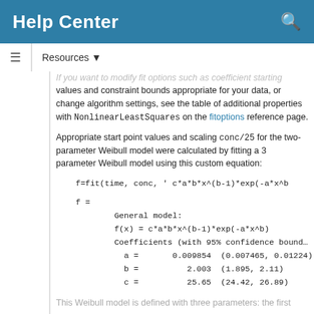Help Center
If you want to modify fit options such as coefficient starting values and constraint bounds appropriate for your data, or change algorithm settings, see the table of additional properties with NonlinearLeastSquares on the fitoptions reference page.
Appropriate start point values and scaling conc/25 for the two-parameter Weibull model were calculated by fitting a 3 parameter Weibull model using this custom equation:
This Weibull model is defined with three parameters: the first